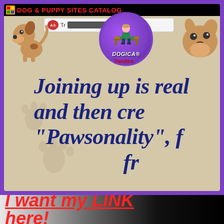DOG & PUPPY SITES CATALOG
[Figure (screenshot): Dog and puppy sites catalog webpage showing cartoon dog illustrations, a DOGICA® circular badge with purple background, Yandex translate bar, and large bold italic dark blue text reading 'Joining up is real... and then cre... "Pawsonality", f... fr...' on a sandy/beige background with paw print watermarks]
I want my LINK here!